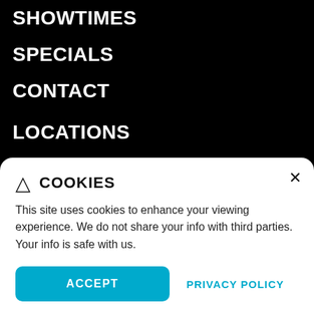SHOWTIMES
SPECIALS
CONTACT
LOCATIONS
ABOUT FLAGSHIP CINEMAS
FILM FANATIC CLUB
COOKIES
This site uses cookies to enhance your viewing experience. We do not share your info with third parties. Your info is safe with us.
ACCEPT
PRIVACY POLICY